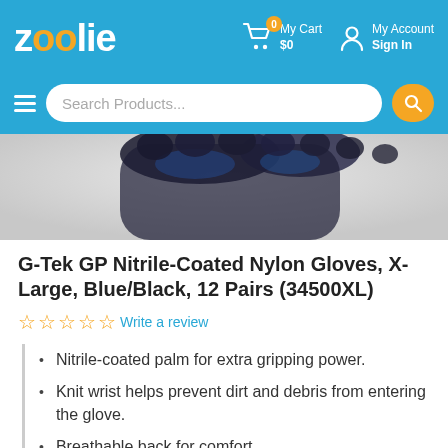zoolie — My Cart $0 — My Account Sign In
[Figure (screenshot): Zoolie e-commerce website header with logo, cart, account, and search bar]
[Figure (photo): Close-up photo of G-Tek GP Nitrile-Coated Nylon Gloves in blue/black]
G-Tek GP Nitrile-Coated Nylon Gloves, X-Large, Blue/Black, 12 Pairs (34500XL)
☆☆☆☆☆ Write a review
Nitrile-coated palm for extra gripping power.
Knit wrist helps prevent dirt and debris from entering the glove.
Breathable back for comfort.
More Details